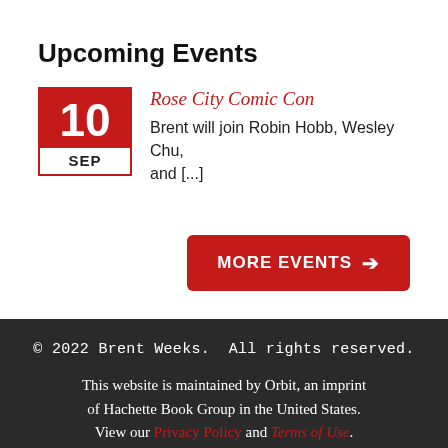Upcoming Events
10 SEP — Rose City Comic Con — Brent will join Robin Hobb, Wesley Chu, and [...]
MORE EVENTS →
© 2022 Brent Weeks.  All rights reserved. This website is maintained by Orbit, an imprint of Hachette Book Group in the United States. View our Privacy Policy and Terms of Use.